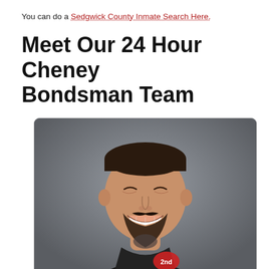You can do a Sedgwick County Inmate Search Here.
Meet Our 24 Hour Cheney Bondsman Team
[Figure (photo): Professional headshot of Heath Duncan, a bearded man with neck tattoos wearing a black polo shirt with a '2nd Chance' logo, smiling, against a gray background.]
Heath Duncan